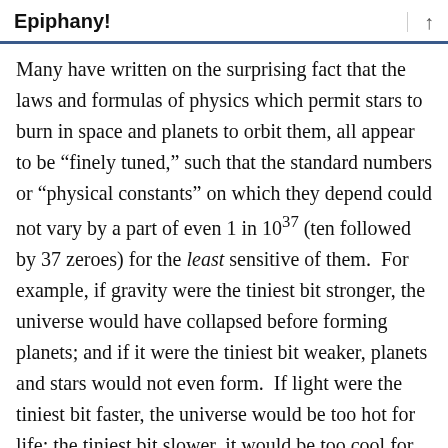Epiphany!
Many have written on the surprising fact that the laws and formulas of physics which permit stars to burn in space and planets to orbit them, all appear to be “finely tuned,” such that the standard numbers or “physical constants” on which they depend could not vary by a part of even 1 in 10³⁷ (ten followed by 37 zeroes) for the least sensitive of them. For example, if gravity were the tiniest bit stronger, the universe would have collapsed before forming planets; and if it were the tiniest bit weaker, planets and stars would not even form. If light were the tiniest bit faster, the universe would be too hot for life; the tiniest bit slower, it would be too cool for life. Many scientists and philosophers of science have written about this